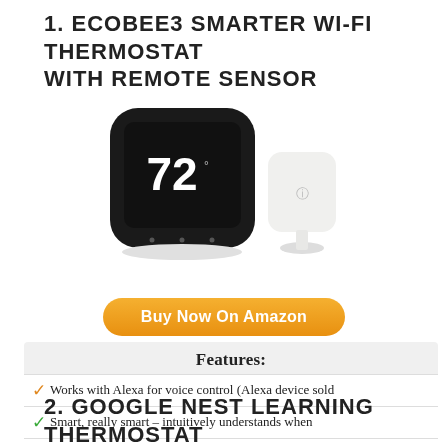1. ECOBEE3 SMARTER WI-FI THERMOSTAT WITH REMOTE SENSOR
[Figure (photo): Photo of ecobee3 smart thermostat (black, showing 72 degrees on display) next to a white remote sensor]
Buy Now On Amazon
Features:
Works with Alexa for voice control (Alexa device sold
Smart, really smart – intuitively understands when
Knows you have a life – senses whether anyone's
2. GOOGLE NEST LEARNING THERMOSTAT